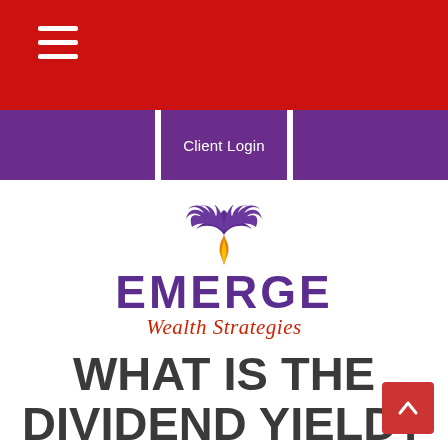Client Login
[Figure (logo): Emerge Wealth Strategies logo with purple phoenix bird above stylized EMERGE text and red italic Wealth Strategies subtitle]
WHAT IS THE DIVIDEND YIELD?